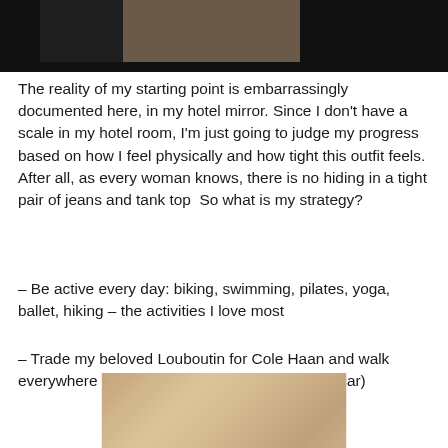[Figure (photo): Top partial photo showing a hotel mirror scene, dark background with image strip]
The reality of my starting point is embarrassingly documented here, in my hotel mirror. Since I don't have a scale in my hotel room, I'm just going to judge my progress based on how I feel physically and how tight this outfit feels.  After all, as every woman knows, there is no hiding in a tight pair of jeans and tank top  So what is my strategy?
– Be active every day: biking, swimming, pilates, yoga, ballet, hiking – the activities I love most
– Trade my beloved Louboutin for Cole Haan and walk everywhere (kinda have to since I don't have a car)
[Figure (photo): Bottom partial photo showing a beige/tan fabric or surface]